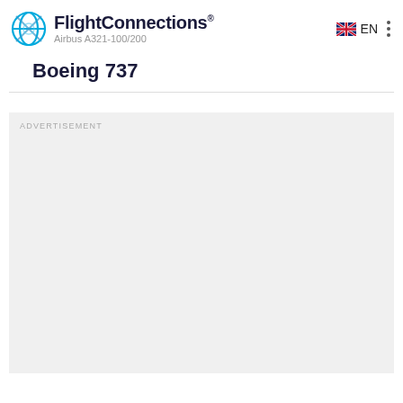FlightConnections® Airbus A321-100/200 EN
Boeing 737
[Figure (other): Advertisement placeholder area with light grey background and ADVERTISEMENT label]